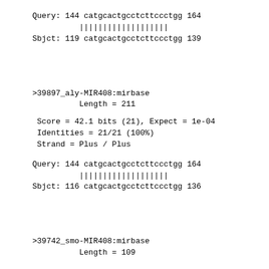Query: 144 catgcactgcctcttccctgg 164
          |||||||||||||||||||
Sbjct: 119 catgcactgcctcttccctgg 139
>39897_aly-MIR408:mirbase
          Length = 211
Score = 42.1 bits (21), Expect = 1e-04
 Identities = 21/21 (100%)
 Strand = Plus / Plus
Query: 144 catgcactgcctcttccctgg 164
          |||||||||||||||||||
Sbjct: 116 catgcactgcctcttccctgg 136
>39742_smo-MIR408:mirbase
          Length = 109